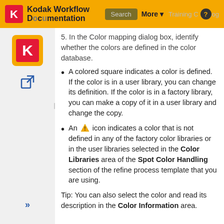Kodak Workflow Documentation  Search  More  Training C?log
5. In the Color mapping dialog box, identify whether the colors are defined in the color database.
A colored square indicates a color is defined. If the color is in a user library, you can change its definition. If the color is in a factory library, you can make a copy of it in a user library and change the copy.
An [warning] icon indicates a color that is not defined in any of the factory color libraries or in the user libraries selected in the Color Libraries area of the Spot Color Handling section of the refine process template that you are using.
Tip: You can also select the color and read its description in the Color Information area.